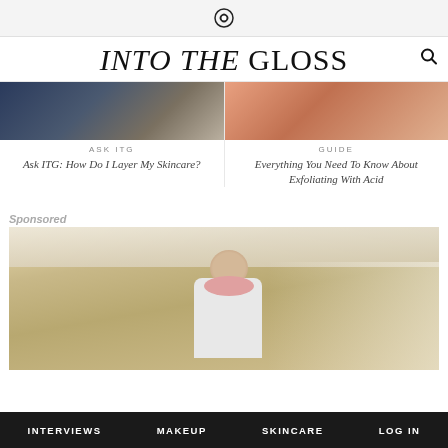Into The Gloss logo icon
INTO THE GLOSS
[Figure (photo): Close-up of denim fabric with stitching, blue and beige tones]
[Figure (photo): Close-up of skin/facial skincare products, warm peach tones]
ASK ITG
Ask ITG: How Do I Layer My Skincare?
GUIDE
Everything You Need To Know About Exfoliating With Acid
Sponsored
[Figure (photo): Sponsored image: person seen from behind in a beige room, wearing white top and pink scarf]
INTERVIEWS   MAKEUP   SKINCARE   LOG IN